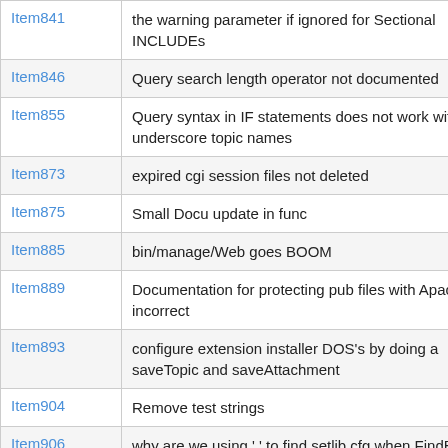| Item | Description |
| --- | --- |
| Item841 | the warning parameter if ignored for Sectional INCLUDEs |
| Item846 | Query search length operator not documented |
| Item855 | Query syntax in IF statements does not work with underscore topic names |
| Item873 | expired cgi session files not deleted |
| Item875 | Small Docu update in func |
| Item885 | bin/manage/Web goes BOOM |
| Item889 | Documentation for protecting pub files with Apache incorrect |
| Item893 | configure extension installer DOS's by doing a saveTopic and saveAttachment |
| Item904 | Remove test strings |
| Item906 | why are we using '.' to find setlib.cfg when FindBin is in Perl? |
| Item908 | adding a script suffix seems to confuse the url parsing code |